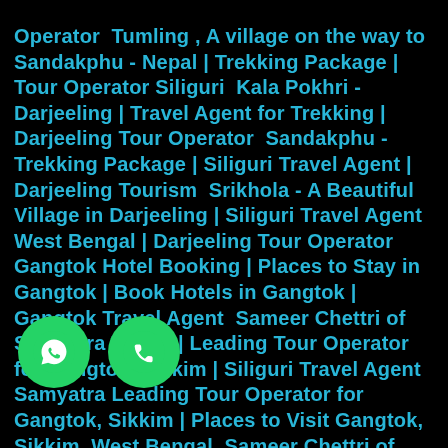Operator  Tumling , A village on the way to Sandakphu - Nepal | Trekking Package | Tour Operator Siliguri  Kala Pokhri - Darjeeling | Travel Agent for Trekking | Darjeeling Tour Operator  Sandakphu - Trekking Package | Siliguri Travel Agent | Darjeeling Tourism  Srikhola - A Beautiful Village in Darjeeling | Siliguri Travel Agent West Bengal | Darjeeling Tour Operator  Gangtok Hotel Booking | Places to Stay in Gangtok | Book Hotels in Gangtok | Gangtok Travel Agent  Sameer Chettri of Samyatra Tours | Leading Tour Operator for Gangtok, Sikkim | Siliguri Travel Agent  Samyatra Leading Tour Operator for Gangtok, Sikkim | Places to Visit Gangtok, Sikkim, West Bengal  Sameer Chettri of Samyatra Tours | Hotels in Gangtok, Sikkim, West Bengal | Gangtok Travel Package  Sameer Chettri in Sikkim Silk Route | Travel Agent Sikkim, Gangtok, West Bengal, India  Sameer Chettri in Silk Route, Sikkim | Sikkim Travel Agent Tour Operator | Hotels in Sikkim  Sameer Chettri of Samyatra  Le...ravel Agent Tour Operator from Siliguri | ...ra... Adventurous Sikkim Old Silk Route | ...moda...n Sikkim | Places to Stay in Sikkim | Siliguri Travel Agent  Beautiful View of Himalayan Ranges in Sikkim | Travel Package for Sikkim | Tour Operator
[Figure (other): WhatsApp icon button (green circle with white WhatsApp logo)]
[Figure (other): Phone icon button (green circle with white phone handset logo)]